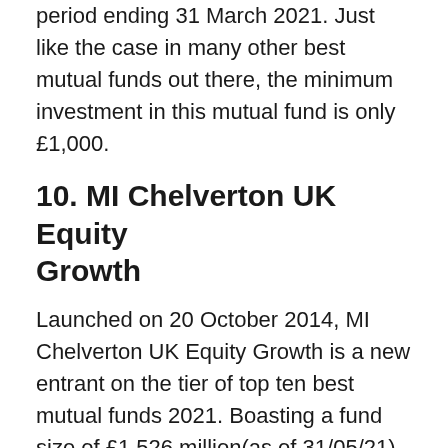period ending 31 March 2021. Just like the case in many other best mutual funds out there, the minimum investment in this mutual fund is only £1,000.
10. MI Chelverton UK Equity Growth
Launched on 20 October 2014, MI Chelverton UK Equity Growth is a new entrant on the tier of top ten best mutual funds 2021. Boasting a fund size of £1,526 million(as of 31/05/21), this top-performing mutual fund concentrates on the UK All Companies as far as its IA sector goes.
The types of investments it holds are small and mid-cap UK stocks or equities. It's top ten holdings include: Future plc(2.22%), dotDigital(2.13%)